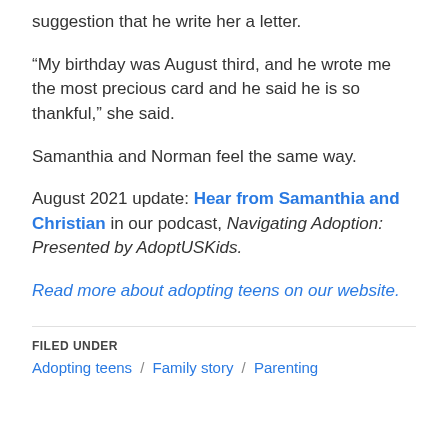suggestion that he write her a letter.
“My birthday was August third, and he wrote me the most precious card and he said he is so thankful,” she said.
Samanthia and Norman feel the same way.
August 2021 update: Hear from Samanthia and Christian in our podcast, Navigating Adoption: Presented by AdoptUSKids.
Read more about adopting teens on our website.
FILED UNDER
Adopting teens / Family story / Parenting